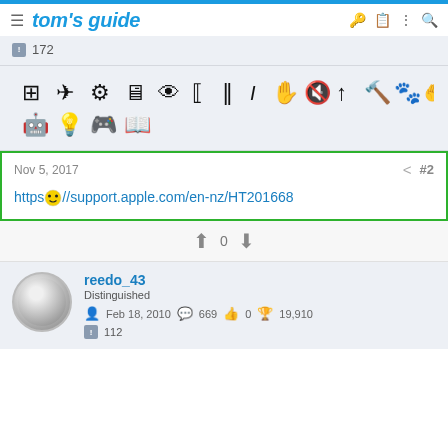tom's guide
172
[Figure (screenshot): Row of small black icons representing various categories/tools]
Nov 5, 2017  #2
https://support.apple.com/en-nz/HT201668
0
reedo_43
Distinguished
Feb 18, 2010  669  0  19,910
112